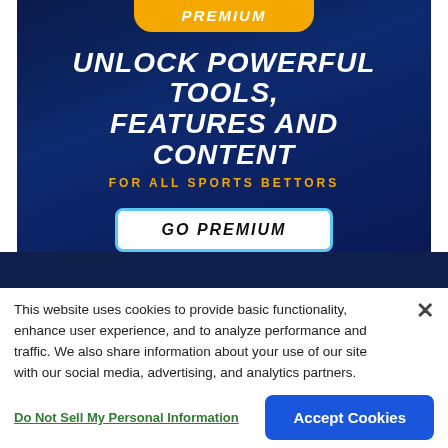[Figure (infographic): Premium sports betting promotional banner with dark blue background, 'PREMIUM' badge at top, headline 'UNLOCK POWERFUL TOOLS, FEATURES AND CONTENT', subheading 'FOR ALL SPORTS BETTORS', and a 'GO PREMIUM' button]
This website uses cookies to provide basic functionality, enhance user experience, and to analyze performance and traffic. We also share information about your use of our site with our social media, advertising, and analytics partners.
By using this website you agree to our Terms of Use.
Do Not Sell My Personal Information
Accept Cookies